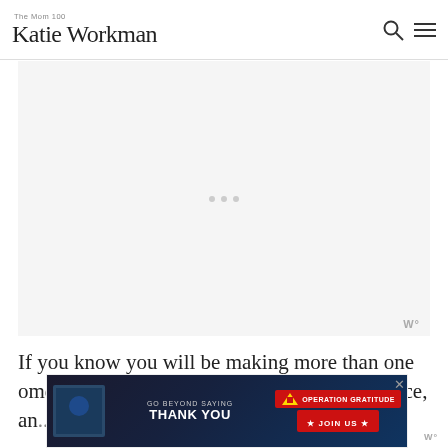The Mom 100 Katie Workman
[Figure (other): Large rectangular advertisement placeholder area with light gray background and three small gray dots in the center, with a 'W°' badge in the bottom right corner]
If you know you will be making more than one omelet, you can whisk up all of the eggs at once, an... which is ph...
[Figure (other): Bottom advertisement banner for Operation Gratitude: 'GO BEYOND SAYING THANK YOU' with JOIN US button and close X button]